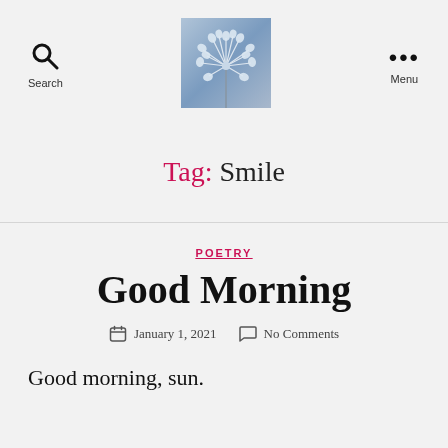Search | [logo image] | Menu
[Figure (photo): A dandelion seed head photograph with blue tones, serving as a blog logo]
Tag: Smile
POETRY
Good Morning
January 1, 2021   No Comments
Good morning, sun.